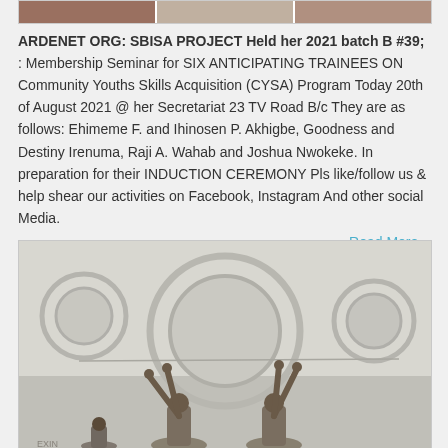[Figure (photo): Partial view of a group photo collage at the top of the card, showing people in a strip.]
ARDENET ORG: SBISA PROJECT Held her 2021 batch B #39; : Membership Seminar for SIX ANTICIPATING TRAINEES ON Community Youths Skills Acquisition (CYSA) Program Today 20th of August 2021 @ her Secretariat 23 TV Road B/c They are as follows: Ehimeme F. and Ihinosen P. Akhigbe, Goodness and Destiny Irenuma, Raji A. Wahab and Joshua Nwokeke. In preparation for their INDUCTION CEREMONY Pls like/follow us & help shear our activities on Facebook, Instagram And other social Media.
Read More »
[Figure (photo): Photo of two people with arms raised working on a white decorative ceiling with circular plaster designs in a room.]